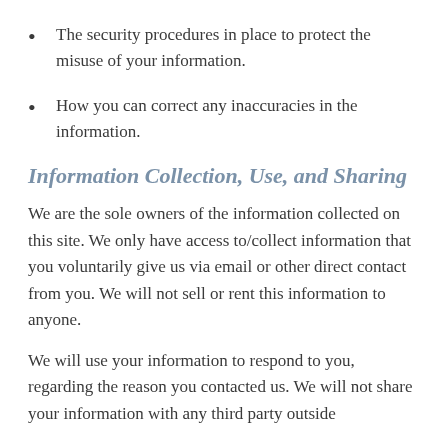The security procedures in place to protect the misuse of your information.
How you can correct any inaccuracies in the information.
Information Collection, Use, and Sharing
We are the sole owners of the information collected on this site. We only have access to/collect information that you voluntarily give us via email or other direct contact from you. We will not sell or rent this information to anyone.
We will use your information to respond to you, regarding the reason you contacted us. We will not share your information with any third party outside